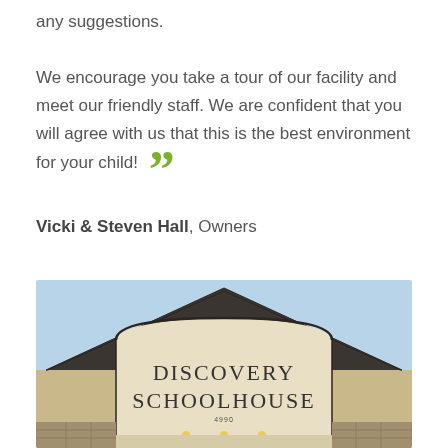any suggestions.

We encourage you take a tour of our facility and meet our friendly staff. We are confident that you will agree with us that this is the best environment for your child! ””
Vicki & Steven Hall, Owners
[Figure (photo): Exterior photo of the Discovery Schoolhouse building entrance, showing a peaked roof with dark shingles, cream-colored archway with the text 'DISCOVERY SCHOOLHOUSE' and address number 4990, light blue sky background, and stone/brick facade at the base.]